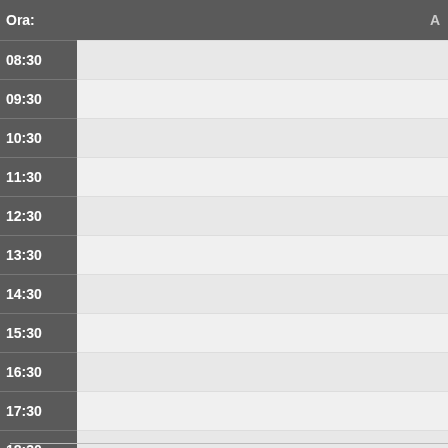| Ora: | A… |
| --- | --- |
| 08:30 |  |
| 09:30 |  |
| 10:30 |  |
| 11:30 |  |
| 12:30 |  |
| 13:30 |  |
| 14:30 |  |
| 15:30 |  |
| 16:30 |  |
| 17:30 |  |
| 18:30 |  |
| Seminario | Chiuso | Convegno | Lezioni | Vacanza |
| Riunione | Esami | Master | CEL | Esterno |
Vedi Giorno: 04 Jan | 05 Jan | 06 Jan | 07 Jan | 08 Jan | 09 Jan | 10 Ja…
Vedi Settimana: 09 Dec | 16 Dec | 23 Dec | 30 Dec | 06 Jan | 13 Jan | 2…
Vedi Mese: Nov 2019 | Dec 2019 | Jan 2020 | Feb 2020 | Mar 2020 | Ap…
A…